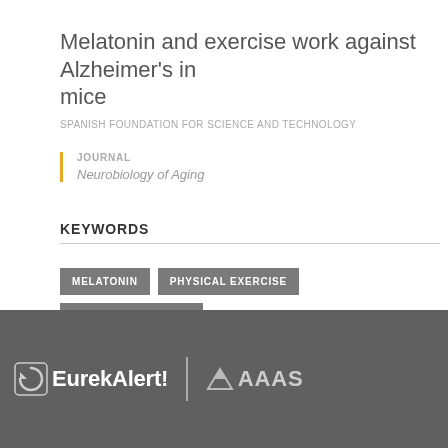Melatonin and exercise work against Alzheimer's in mice
SPANISH FOUNDATION FOR SCIENCE AND TECHNOLOGY
JOURNAL
Neurobiology of Aging
KEYWORDS
MELATONIN
PHYSICAL EXERCISE
ALZHEIMER DISEASE
EurekAlert! AAAS